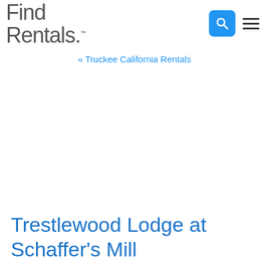Find Rentals. [logo with search and menu icons]
« Truckee California Rentals
Trestlewood Lodge at Schaffer's Mill